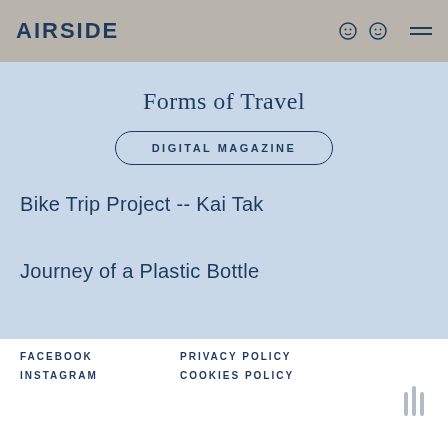AIRSIDE
Forms of Travel
DIGITAL MAGAZINE
Bike Trip Project -- Kai Tak
Journey of a Plastic Bottle
FACEBOOK  PRIVACY POLICY  INSTAGRAM  COOKIES POLICY